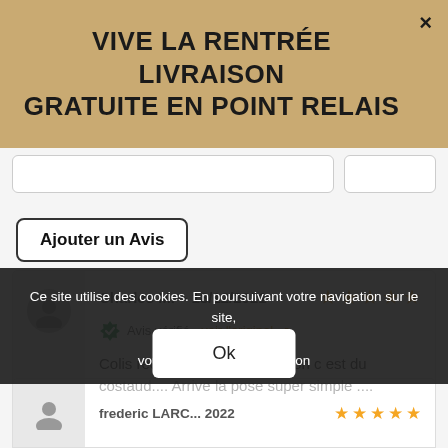VIVE LA RENTRÉE LIVRAISON GRATUITE EN POINT RELAIS
Ajouter un Avis
Charles M. – 18/12/2021
Avis vérifié - voir l'original
Colis reçu, première impression c est du costaud.... Arrive la pose super simple ....
Super produit que je recommande
frederic LARC... 2022
Ce site utilise des cookies. En poursuivant votre navigation sur le site, vous acceptez leur utilisation
Ok